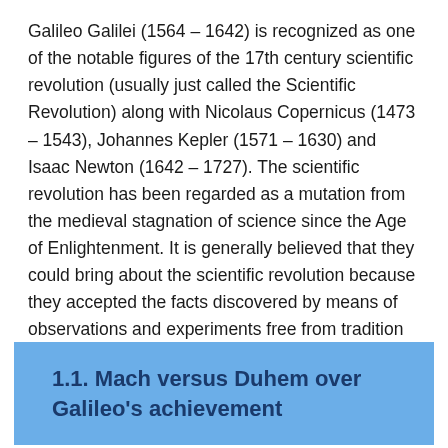Galileo Galilei (1564 – 1642) is recognized as one of the notable figures of the 17th century scientific revolution (usually just called the Scientific Revolution) along with Nicolaus Copernicus (1473 – 1543), Johannes Kepler (1571 – 1630) and Isaac Newton (1642 – 1727). The scientific revolution has been regarded as a mutation from the medieval stagnation of science since the Age of Enlightenment. It is generally believed that they could bring about the scientific revolution because they accepted the facts discovered by means of observations and experiments free from tradition and theoretical prejudice.
1.1. Mach versus Duhem over Galileo's achievement